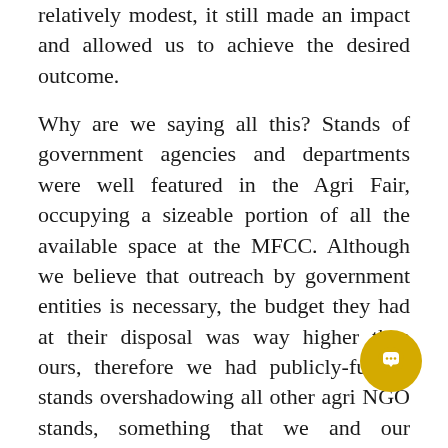relatively modest, it still made an impact and allowed us to achieve the desired outcome.
Why are we saying all this? Stands of government agencies and departments were well featured in the Agri Fair, occupying a sizeable portion of all the available space at the MFCC. Although we believe that outreach by government entities is necessary, the budget they had at their disposal was way higher than ours, therefore we had publicly-funded stands overshadowing all other agri NGO stands, something that we and our supporters considered as being patronising.
If the Ministry believes in agri NGOs like